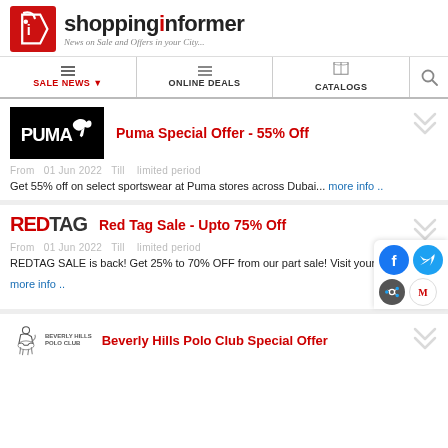shoppinginformer - News on Sale and Offers in your City...
SALE NEWS | ONLINE DEALS | CATALOGS
Puma Special Offer - 55% Off
From  01 Jun 2022  Till   limited period
Get 55% off on select sportswear at Puma stores across Dubai... more info ..
Red Tag Sale - Upto 75% Off
From  01 Jun 2022  Till   limited period
REDTAG SALE is back! Get 25% to 70% OFF from our part sale! Visit your.. more info ..
Beverly Hills Polo Club Special Offer